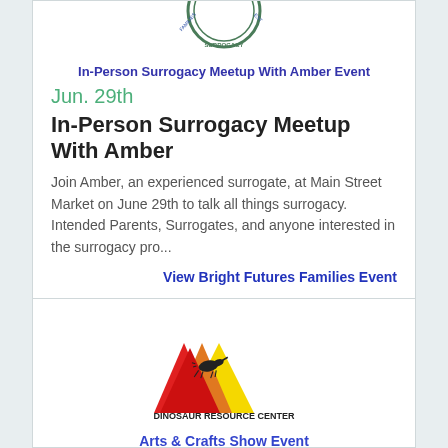[Figure (logo): Partial circular logo for Bright Futures Families Surrogacy, green and blue, partially cropped at top]
In-Person Surrogacy Meetup With Amber Event
Jun. 29th
In-Person Surrogacy Meetup With Amber
Join Amber, an experienced surrogate, at Main Street Market on June 29th to talk all things surrogacy. Intended Parents, Surrogates, and anyone interested in the surrogacy pro...
View Bright Futures Families Event
[Figure (logo): Dinosaur Resource Center logo with red, orange, and yellow mountain triangles and a dinosaur skeleton silhouette. Text reads DINOSAUR RESOURCE CENTER ...A WHOLE NEW SPECIES OF FUN]
Arts & Crafts Show Event